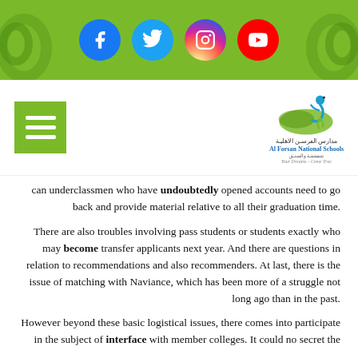[Figure (illustration): Green header bar with four social media icons (Facebook, Twitter, Instagram, YouTube) as teal/colored circles, with decorative green spiral elements on left and right]
[Figure (logo): Al Forsan National Schools logo with a jumping figure, Arabic text, and tagline 'Your Dreams Come True', paired with a green hamburger menu button]
can underclassmen who have undoubtedly opened accounts need to go back and provide material relative to all their graduation time.
There are also troubles involving pass students or students exactly who may become transfer applicants next year. And there are questions in relation to recommendations and also recommenders. At last, there is the issue of matching with Naviance, which has been more of a struggle not long ago than in the past.
However beyond these basic logistical issues, there comes into participate in the subject of interface with member colleges. It could no secret the